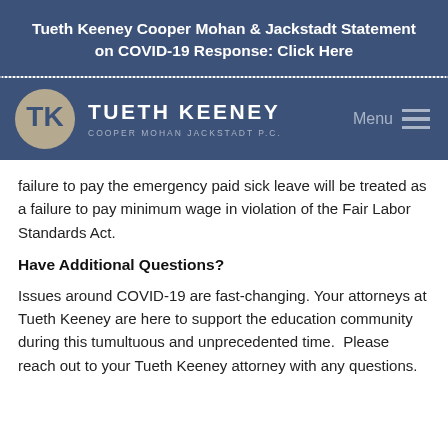Tueth Keeney Cooper Mohan & Jackstadt Statement on COVID-19 Response: Click Here
[Figure (logo): Tueth Keeney Cooper Mohan Jackstadt P.C. logo with circular TK emblem and firm name]
failure to pay the emergency paid sick leave will be treated as a failure to pay minimum wage in violation of the Fair Labor Standards Act.
Have Additional Questions?
Issues around COVID-19 are fast-changing. Your attorneys at Tueth Keeney are here to support the education community during this tumultuous and unprecedented time.  Please reach out to your Tueth Keeney attorney with any questions.